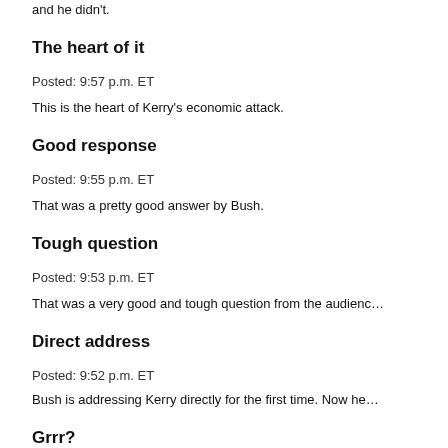and he didn't.
The heart of it
Posted: 9:57 p.m. ET
This is the heart of Kerry's economic attack.
Good response
Posted: 9:55 p.m. ET
That was a pretty good answer by Bush.
Tough question
Posted: 9:53 p.m. ET
That was a very good and tough question from the audienc…
Direct address
Posted: 9:52 p.m. ET
Bush is addressing Kerry directly for the first time. Now he…
Grrr?
Posted: 9:51 p.m. ET
Is Bush getting too rough?
Can Bush handle it?